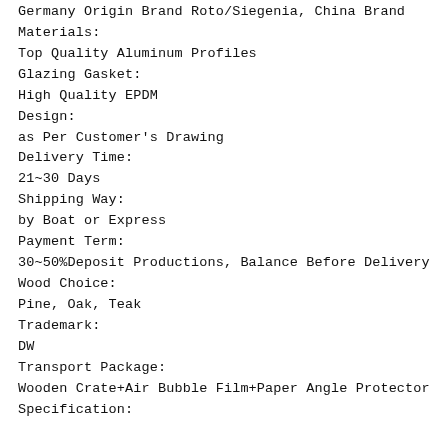Germany Origin Brand Roto/Siegenia, China Brand
Materials:
Top Quality Aluminum Profiles
Glazing Gasket:
High Quality EPDM
Design:
as Per Customer's Drawing
Delivery Time:
21~30 Days
Shipping Way:
by Boat or Express
Payment Term:
30~50%Deposit Productions, Balance Before Delivery
Wood Choice:
Pine, Oak, Teak
Trademark:
DW
Transport Package:
Wooden Crate+Air Bubble Film+Paper Angle Protector
Specification: